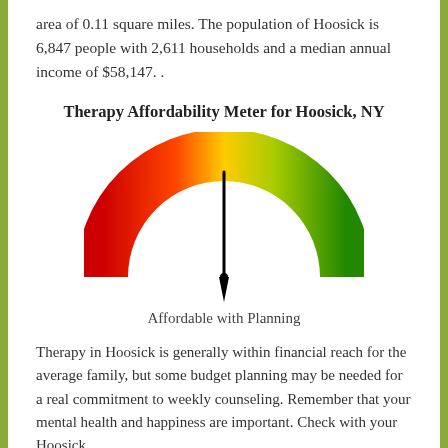area of 0.11 square miles. The population of Hoosick is 6,847 people with 2,611 households and a median annual income of $58,147. .
Therapy Affordability Meter for Hoosick, NY
[Figure (other): Gauge/speedometer meter showing affordability. The dial is a half-circle arc colored from red (left) to yellow (top) to green (right), with a needle pointing straight up indicating 'Affordable with Planning'.]
Affordable with Planning
Therapy in Hoosick is generally within financial reach for the average family, but some budget planning may be needed for a real commitment to weekly counseling. Remember that your mental health and happiness are important. Check with your Hoosick